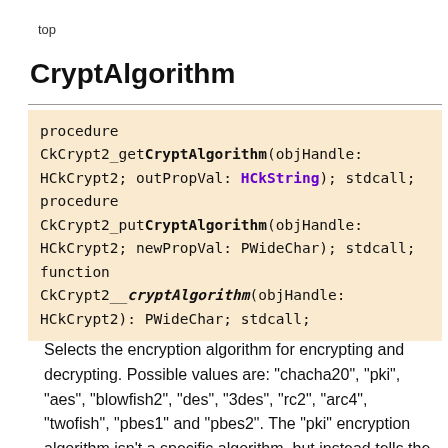top
CryptAlgorithm
procedure CkCrypt2_getCryptAlgorithm(objHandle: HCkCrypt2; outPropVal: HCkString); stdcall;
procedure CkCrypt2_putCryptAlgorithm(objHandle: HCkCrypt2; newPropVal: PWideChar); stdcall;
function CkCrypt2__cryptAlgorithm(objHandle: HCkCrypt2): PWideChar; stdcall;
Selects the encryption algorithm for encrypting and decrypting. Possible values are: "chacha20", "pki", "aes", "blowfish2", "des", "3des", "rc2", "arc4", "twofish", "pbes1" and "pbes2". The "pki" encryption algorithm isn't a specific algorithm, but instead tells the component to encrypt/decrypt using public-key